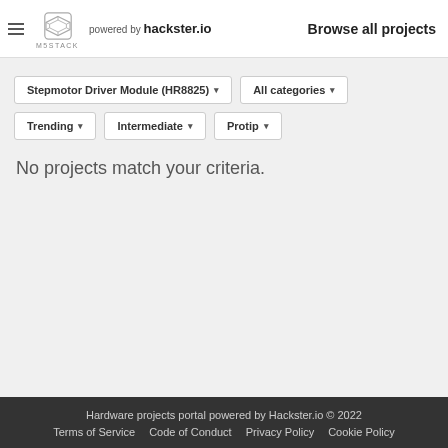M5STACK powered by hackster.io — Browse all projects
Stepmotor Driver Module (HR8825) ▾   All categories ▾   Trending ▾   Intermediate ▾   Protip ▾
No projects match your criteria.
Hardware projects portal powered by Hackster.io © 2022
Terms of Service   Code of Conduct   Privacy Policy   Cookie Policy